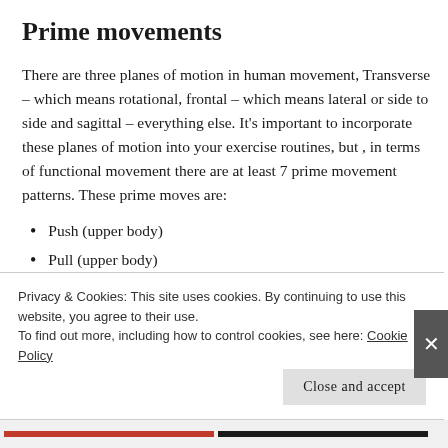Prime movements
There are three planes of motion in human movement, Transverse – which means rotational, frontal – which means lateral or side to side and sagittal – everything else. It's important to incorporate these planes of motion into your exercise routines, but , in terms of functional movement there are at least 7 prime movement patterns. These prime moves are:
Push (upper body)
Pull (upper body)
Privacy & Cookies: This site uses cookies. By continuing to use this website, you agree to their use.
To find out more, including how to control cookies, see here: Cookie Policy